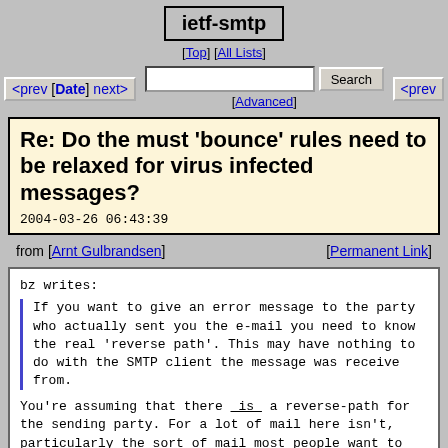ietf-smtp
[Top] [All Lists]
[Advanced]
<prev [Date] next>  <prev
Re: Do the must 'bounce' rules need to be relaxed for virus infected messages?
2004-03-26 06:43:39
from [Arnt Gulbrandsen]   [Permanent Link]
bz writes:
If you want to give an error message to the party who actually sent you the e-mail you need to know the real 'reverse path'. This may have nothing to do with the SMTP client the message was receive from.

You're assuming that there _is_ a reverse-path for the sending party. For a lot of mail here isn't, particularly the sort of mail most people want to reject (spam and virii).

But the primary TCP connection should allow you to use SMTP